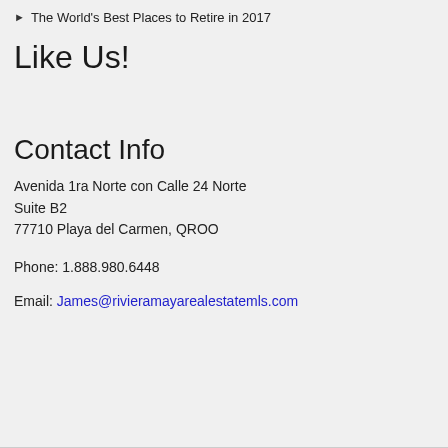The World's Best Places to Retire in 2017
Like Us!
Contact Info
Avenida 1ra Norte con Calle 24 Norte
Suite B2
77710 Playa del Carmen, QROO
Phone: 1.888.980.6448
Email: James@rivieramayarealestatemls.com